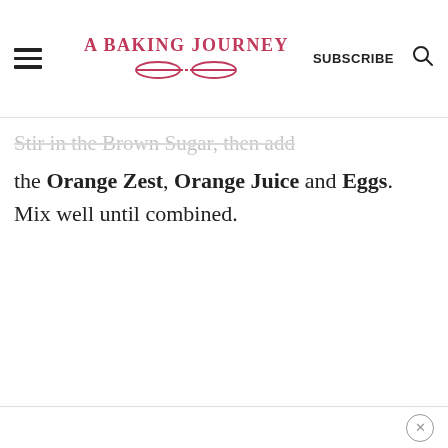A BAKING JOURNEY | SUBSCRIBE
Stir in the Brown Sugar, then add the Orange Zest, Orange Juice and Eggs. Mix well until combined.